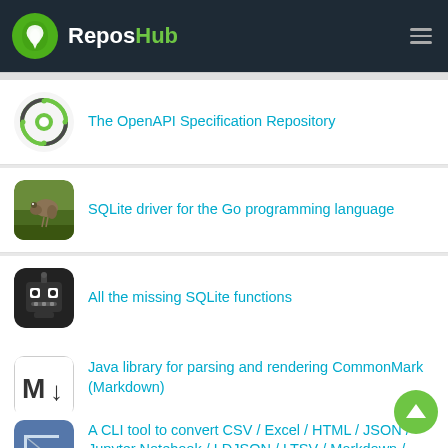ReposHub
The OpenAPI Specification Repository
SQLite driver for the Go programming language
All the missing SQLite functions
Java library for parsing and rendering CommonMark (Markdown)
A CLI tool to convert CSV / Excel / HTML / JSON / Jupyter Notebook / LDJSON / LTSV / Markdown / SQLite / SSV /